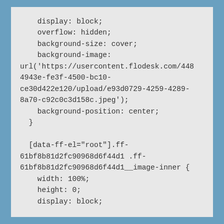display: block;
    overflow: hidden;
    background-size: cover;
    background-image:
url('https://usercontent.flodesk.com/4484943e-fe3f-4500-bc10-ce30d422e120/upload/e93d0729-4259-4289-8a70-c92c0c3d158c.jpeg');
    background-position: center;
  }

  [data-ff-el="root"].ff-61bf8b81d2fc90968d6f44d1 .ff-61bf8b81d2fc90968d6f44d1__image-inner {
    width: 100%;
    height: 0;
    display: block;